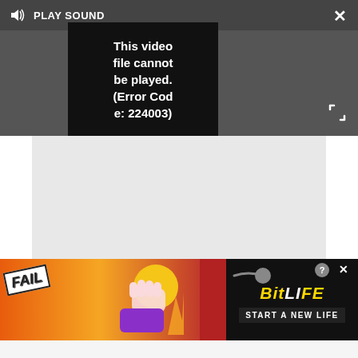[Figure (screenshot): Video player with dark grey background showing error message. Controls bar at top shows speaker icon and 'PLAY SOUND' text. Video black box shows error: 'This video file cannot be played. (Error Code: 224003)'. X close button top right, expand arrows bottom right.]
[Figure (screenshot): Grey advertisement placeholder area below video player.]
The Google Pixel 4 is also coming soon
As is the Huawei Mate 30 Pro
Check out the best iPhone apps
It looks like somehow our leak has been leaked. Ironic
[Figure (screenshot): BitLife advertisement banner. Red/fire background with FAIL text and cartoon character on left, BitLife logo and START A NEW LIFE text on black panel on right.]